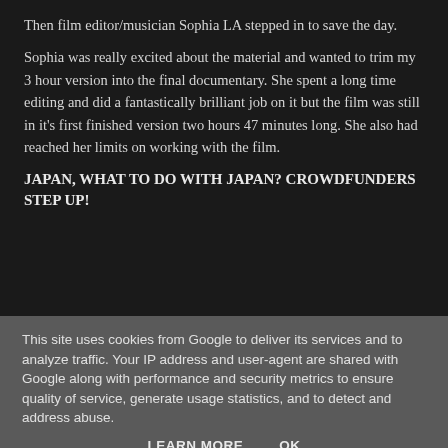Then film editor/musician Sophia LA stepped in to save the day.
Sophia was really excited about the material and wanted to trim my 3 hour version into the final documentary. She spent a long time editing and did a fantastically brilliant job on it but the film was still in it's first finished version two hours 47 minutes long. She also had reached her limits on working with the film.
JAPAN, WHAT TO DO WITH JAPAN? CROWDFUNDERS STEP UP!
This site uses cookies from Google to deliver its services and to analyze traffic. Your IP address and user-agent are shared with Google along with performance and security metrics to ensure quality of service, generate usage statistics, and to detect and address abuse.
LEARN MORE    OK